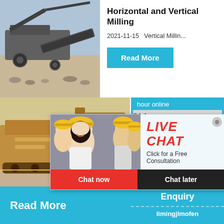[Figure (photo): Mining/crushing machine in outdoor quarry setting]
Horizontal and Vertical Milling
2021-11-15   Vertical Millin...
Read More
[Figure (photo): Large yellow industrial machinery on construction site]
[Figure (photo): Live chat popup with workers in yellow hard hats]
LIVE CHAT
Click for a Free Consultation
Chat now
Chat later
hour online
[Figure (photo): Industrial crusher machine, white/grey with red wheel]
Click me to chat>>
China
2021-3-1
Read More
Enquiry
limingjlmofen